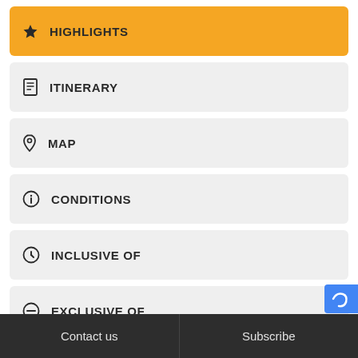★ HIGHLIGHTS
ITINERARY
MAP
CONDITIONS
INCLUSIVE OF
EXCLUSIVE OF
OPTIONS
Contact us   Subscribe